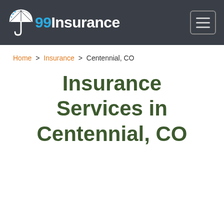[Figure (logo): 99Insurance logo with umbrella icon and navigation hamburger menu on dark grey navbar]
Home > Insurance > Centennial, CO
Insurance Services in Centennial, CO